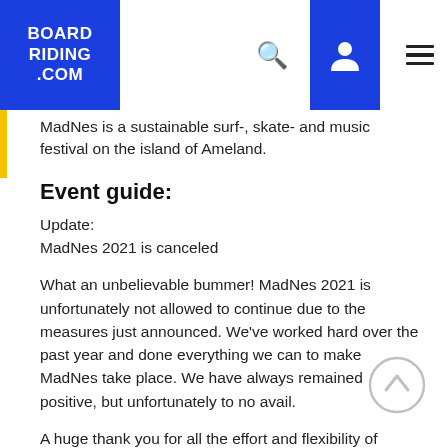BOARD RIDING .COM
MadNes is a sustainable surf-, skate- and music festival on the island of Ameland.
Event guide:
Update:
MadNes 2021 is canceled
What an unbelievable bummer! MadNes 2021 is unfortunately not allowed to continue due to the measures just announced. We've worked hard over the past year and done everything we can to make MadNes take place. We have always remained positive, but unfortunately to no avail.
A huge thank you for all the effort and flexibility of everyone we have worked with this year. We are also extremely grateful for the unprecedented enthusiasm and trust of the